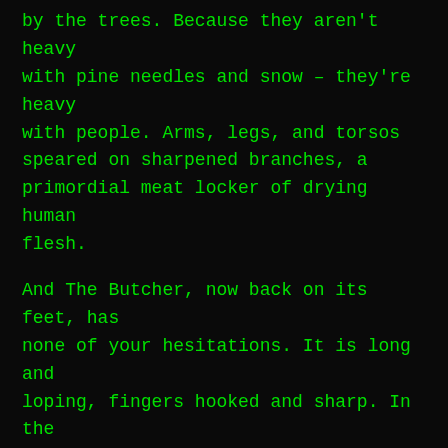by the trees. Because they aren't heavy with pine needles and snow – they're heavy with people. Arms, legs, and torsos speared on sharpened branches, a primordial meat locker of drying human flesh.
And The Butcher, now back on its feet, has none of your hesitations. It is long and loping, fingers hooked and sharp. In the glittering fire it's skin shimmers with blood and sweet, mangy hair covering everything except for a mouthful of bone-white teeth.
There is nowhere left to run.